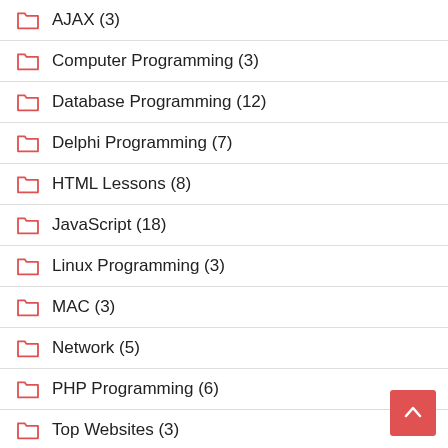AJAX (3)
Computer Programming (3)
Database Programming (12)
Delphi Programming (7)
HTML Lessons (8)
JavaScript (18)
Linux Programming (3)
MAC (3)
Network (5)
PHP Programming (6)
Top Websites (3)
Website Content (8)